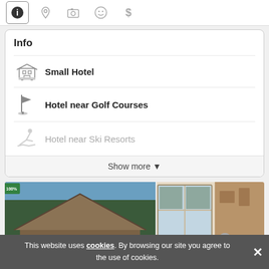[Figure (screenshot): Tab bar with info, location, camera, emoji and dollar icons]
Info
Small Hotel
Hotel near Golf Courses
Hotel near Ski Resorts
Show more ▾
[Figure (photo): Two hotel photos side by side: exterior chalet building among trees on left, interior room with large windows on right. Categories badge with number 1 overlaid at bottom.]
This website uses cookies. By browsing our site you agree to the use of cookies.